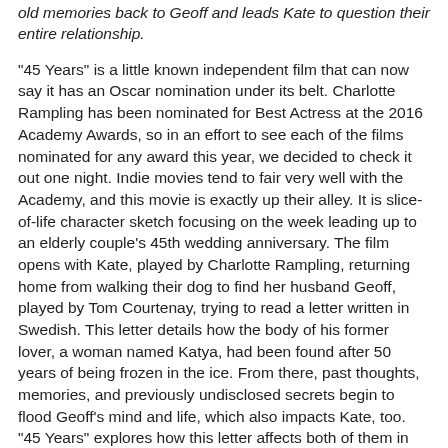old memories back to Geoff and leads Kate to question their entire relationship.
"45 Years" is a little known independent film that can now say it has an Oscar nomination under its belt. Charlotte Rampling has been nominated for Best Actress at the 2016 Academy Awards, so in an effort to see each of the films nominated for any award this year, we decided to check it out one night. Indie movies tend to fair very well with the Academy, and this movie is exactly up their alley. It is slice-of-life character sketch focusing on the week leading up to an elderly couple's 45th wedding anniversary. The film opens with Kate, played by Charlotte Rampling, returning home from walking their dog to find her husband Geoff, played by Tom Courtenay, trying to read a letter written in Swedish. This letter details how the body of his former lover, a woman named Katya, had been found after 50 years of being frozen in the ice. From there, past thoughts, memories, and previously undisclosed secrets begin to flood Geoff's mind and life, which also impacts Kate, too. "45 Years" explores how this letter affects both of them in very different ways, possibly bringing Kate and Geoff's nearly half-century